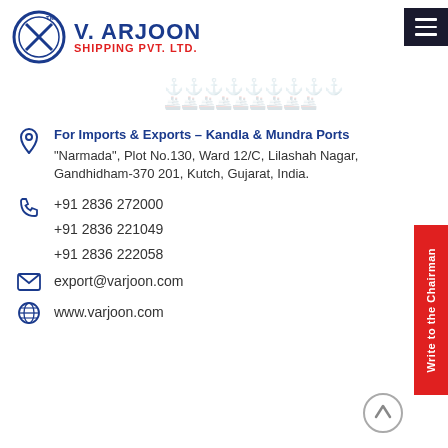[Figure (logo): V. Arjoon Shipping Pvt. Ltd. logo with circular emblem and company name in blue and red]
[Figure (illustration): Decorative repeating wave/ship pattern in light gray on right side of header]
For Imports & Exports – Kandla & Mundra Ports
"Narmada", Plot No.130, Ward 12/C, Lilashah Nagar, Gandhidham-370 201, Kutch, Gujarat, India.
+91 2836 272000
+91 2836 221049
+91 2836 222058
export@varjoon.com
www.varjoon.com
Write to the Chairman